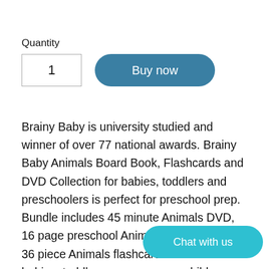Quantity
1
Buy now
Brainy Baby is university studied and winner of over 77 national awards. Brainy Baby Animals Board Book, Flashcards and DVD Collection for babies, toddlers and preschoolers is perfect for preschool prep. Bundle includes 45 minute Animals DVD, 16 page preschool Animals board book and 36 piece Animals flashcard set that teaches babies, toddlers and children about Animals. All 3 teach designed to complement the subject and enhance
Chat with us